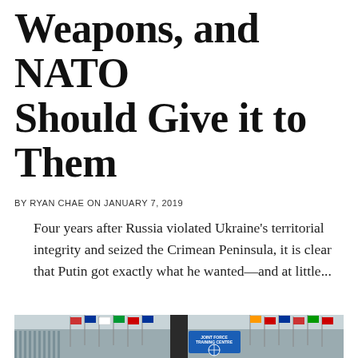Weapons, and NATO Should Give it to Them
BY RYAN CHAE ON JANUARY 7, 2019
Four years after Russia violated Ukraine's territorial integrity and seized the Crimean Peninsula, it is clear that Putin got exactly what he wanted—and at little...
[Figure (photo): Photograph of NATO Joint Force Training Centre building with rows of national flags on flagpoles in front of it]